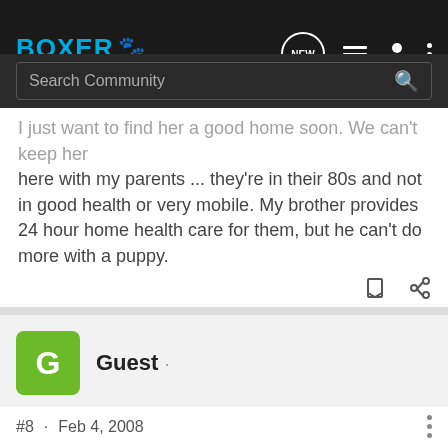Boxer Forums
I just want to find her a good home soon.  We can't keep her here with my parents ... they're in their 80s and not in good health or very mobile.  My brother provides 24 hour home health care for them, but he can't do more with a puppy.
Guest · #8 · Feb 4, 2008
i live in SE texas.  i would LOVE another dog, but my husband would FLIP if i brought one home 🙁